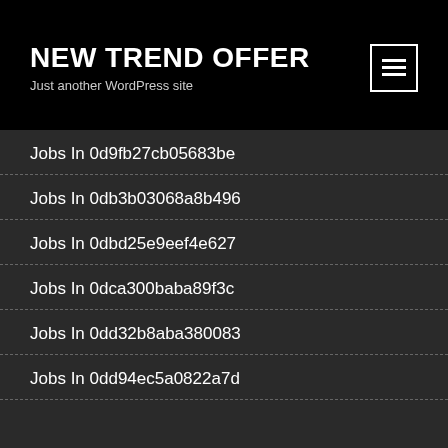NEW TREND OFFER
Just another WordPress site
Jobs In 0d9fb27cb05683be
Jobs In 0db3b03068a8b496
Jobs In 0dbd25e9eef4e627
Jobs In 0dca300baba89f3c
Jobs In 0dd32b8aba380083
Jobs In 0dd94ec5a0822a7d